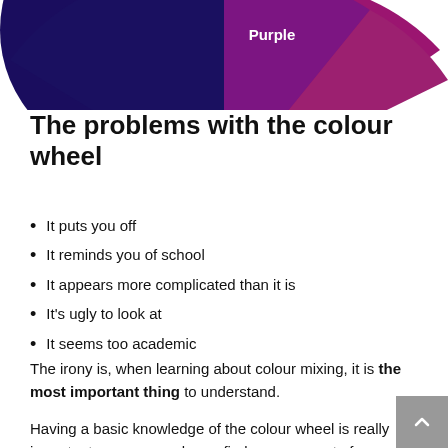[Figure (pie-chart): Partial colour wheel showing navy/dark blue and purple/magenta segments visible at the top of the page. The label 'Purple' is shown in white text on the purple segment.]
The problems with the colour wheel
It puts you off
It reminds you of school
It appears more complicated than it is
It's ugly to look at
It seems too academic
It is a tool and not a list of paints to go and buy and paint all your paintings with.
The irony is, when learning about colour mixing, it is the most important thing to understand.
Having a basic knowledge of the colour wheel is really important so you can always find your way out of a colour